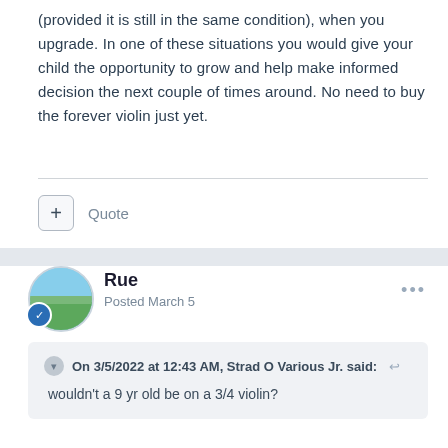(provided it is still in the same condition), when you upgrade. In one of these situations you would give your child the opportunity to grow and help make informed decision the next couple of times around. No need to buy the forever violin just yet.
+ Quote
Rue
Posted March 5
On 3/5/2022 at 12:43 AM, Strad O Various Jr. said:
wouldn't a 9 yr old be on a 3/4 violin?
Not necessarily.  Depends on how large the child is.